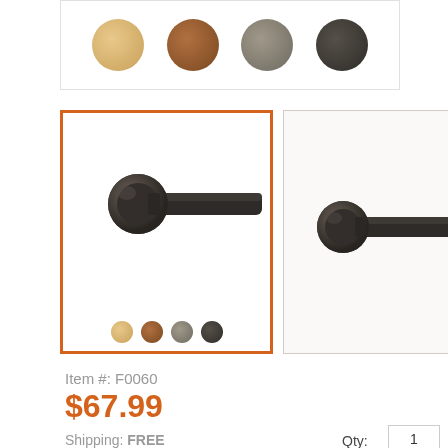[Figure (photo): Top panel showing four color swatches for curtain rod finishes: tan/gold, brown, gray-taupe, dark charcoal]
[Figure (photo): Selected product card with orange border showing dark curtain rod finial closeup and four color swatches below]
[Figure (photo): Second product card showing dark curtain rod finial closeup from slightly different angle]
Item #: F0060
$67.99
Shipping: FREE
Qty:
1